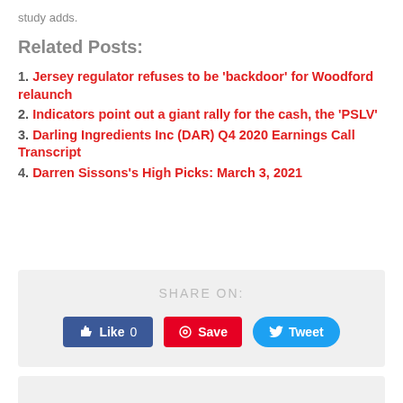study adds.
Related Posts:
1. Jersey regulator refuses to be 'backdoor' for Woodford relaunch
2. Indicators point out a giant rally for the cash, the 'PSLV'
3. Darling Ingredients Inc (DAR) Q4 2020 Earnings Call Transcript
4. Darren Sissons's High Picks: March 3, 2021
SHARE ON:
[Figure (infographic): Share buttons: Like 0 (Facebook), Save (Pinterest), Tweet (Twitter)]